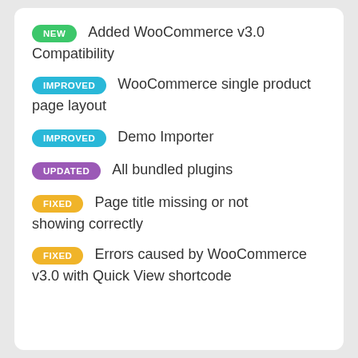NEW — Added WooCommerce v3.0 Compatibility
IMPROVED — WooCommerce single product page layout
IMPROVED — Demo Importer
UPDATED — All bundled plugins
FIXED — Page title missing or not showing correctly
FIXED — Errors caused by WooCommerce v3.0 with Quick View shortcode